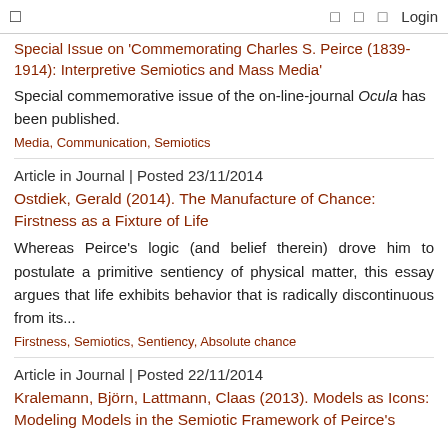☰  □  □  □  Login
Special Issue on 'Commemorating Charles S. Peirce (1839-1914): Interpretive Semiotics and Mass Media'
Special commemorative issue of the on-line-journal Ocula has been published.
Media, Communication, Semiotics
Article in Journal | Posted 23/11/2014
Ostdiek, Gerald (2014). The Manufacture of Chance: Firstness as a Fixture of Life
Whereas Peirce's logic (and belief therein) drove him to postulate a primitive sentiency of physical matter, this essay argues that life exhibits behavior that is radically discontinuous from its...
Firstness, Semiotics, Sentiency, Absolute chance
Article in Journal | Posted 22/11/2014
Kralemann, Björn, Lattmann, Claas (2013). Models as Icons: Modeling Models in the Semiotic Framework of Peirce's